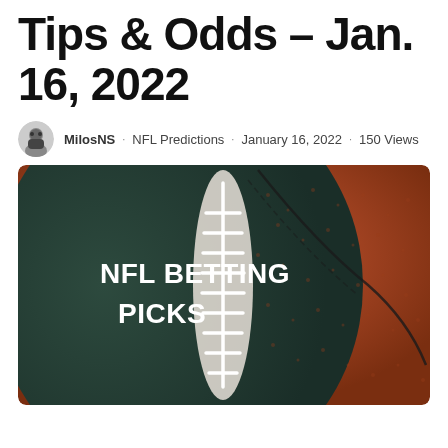Tips & Odds – Jan. 16, 2022
MilosNS · NFL Predictions · January 16, 2022 · 150 Views
[Figure (photo): NFL football close-up photo with white laces against a dark green and football leather background, with white bold text overlay reading 'NFL BETTING PICKS']